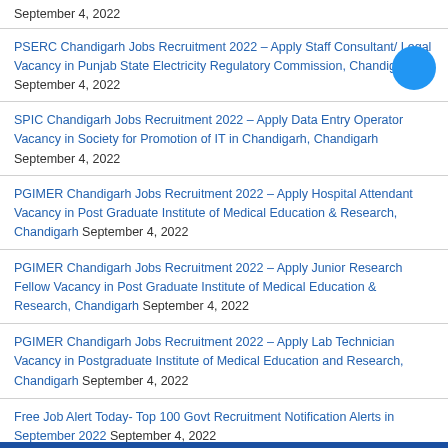September 4, 2022
PSERC Chandigarh Jobs Recruitment 2022 – Apply Staff Consultant/ Legal Vacancy in Punjab State Electricity Regulatory Commission, Chandigarh September 4, 2022
SPIC Chandigarh Jobs Recruitment 2022 – Apply Data Entry Operator Vacancy in Society for Promotion of IT in Chandigarh, Chandigarh September 4, 2022
PGIMER Chandigarh Jobs Recruitment 2022 – Apply Hospital Attendant Vacancy in Post Graduate Institute of Medical Education & Research, Chandigarh September 4, 2022
PGIMER Chandigarh Jobs Recruitment 2022 – Apply Junior Research Fellow Vacancy in Post Graduate Institute of Medical Education & Research, Chandigarh September 4, 2022
PGIMER Chandigarh Jobs Recruitment 2022 – Apply Lab Technician Vacancy in Postgraduate Institute of Medical Education and Research, Chandigarh September 4, 2022
Free Job Alert Today- Top 100 Govt Recruitment Notification Alerts in September 2022 September 4, 2022